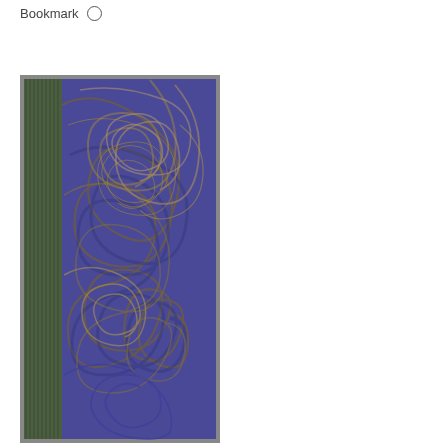Bookmark
[Figure (photo): A bookmark with a green fabric spine on the left side and a decorative marbled paper pattern featuring swirling blue, purple, and gold/olive colors on the right side.]